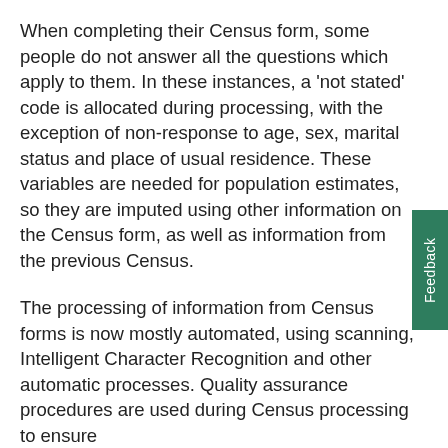When completing their Census form, some people do not answer all the questions which apply to them. In these instances, a 'not stated' code is allocated during processing, with the exception of non-response to age, sex, marital status and place of usual residence. These variables are needed for population estimates, so they are imputed using other information on the Census form, as well as information from the previous Census.
The processing of information from Census forms is now mostly automated, using scanning, Intelligent Character Recognition and other automatic processes. Quality assurance procedures are used during Census processing to ensure